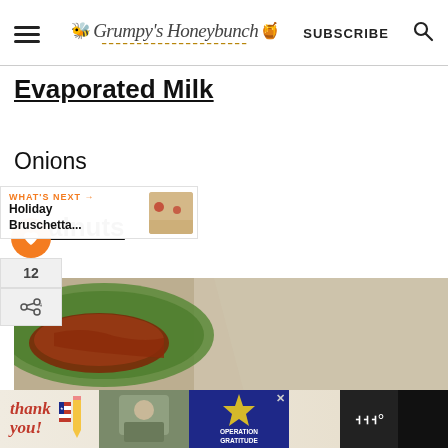Grumpy's Honeybunch — SUBSCRIBE
Evaporated Milk
Onions
Walnuts
[Figure (photo): Food photo showing a casserole dish with meat filling on a stone surface; What's Next overlay showing Holiday Bruschetta with thumbnail]
WHAT'S NEXT → Holiday Bruschetta...
[Figure (photo): Ad banner: Thank you with American flag pencil, soldier photo, Operation Gratitude logo]